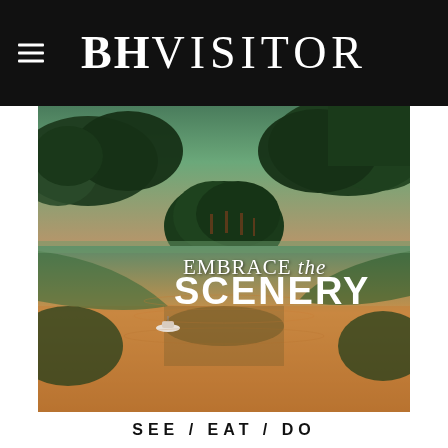BHVISITOR
[Figure (photo): Aerial view of a lake surrounded by pine forest with a small boat on the water, warm golden sunset light reflected on the water. Text overlay reads 'EMBRACE the SCENERY'. Bottom bar reads 'SEE / EAT / DO'.]